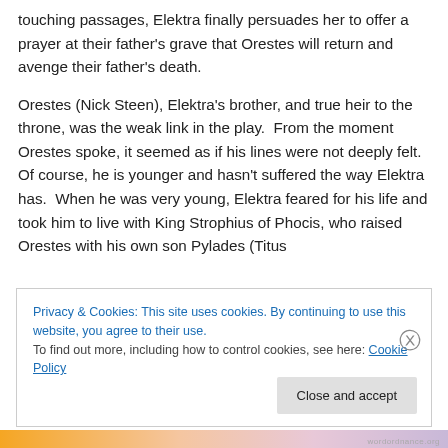touching passages, Elektra finally persuades her to offer a prayer at their father's grave that Orestes will return and avenge their father's death.
Orestes (Nick Steen), Elektra's brother, and true heir to the throne, was the weak link in the play.  From the moment Orestes spoke, it seemed as if his lines were not deeply felt.  Of course, he is younger and hasn't suffered the way Elektra has.  When he was very young, Elektra feared for his life and took him to live with King Strophius of Phocis, who raised Orestes with his own son Pylades (Titus
Privacy & Cookies: This site uses cookies. By continuing to use this website, you agree to their use.
To find out more, including how to control cookies, see here: Cookie Policy